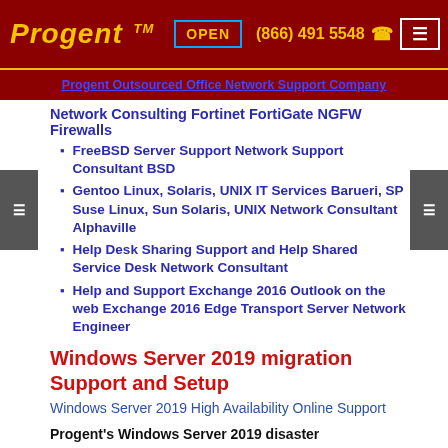Progent TM  OPEN  (866) 491 5548  ☎  ≡
Progent Outsourced Office Network Support Company
Network Consulting Fortinet FortiGate NGFW Firewalls
FreeBSD Server Support Network Support Consultant BSD
Gentoo Linux, Solaris, UNIX IT Services Barueri, SP Suse Linux, Sun Solaris, UNIX Network Consultant Alphaville
Help Desk Sharing Support and Help Shared Service Desk Network Consultant
Help and Support Exchange 2016 Outlook on the web Exchange 2016 Edge Transport Server Network Engineer
Windows Server 2019 migration Support and Setup
Windows Server 2019 High Availability Online Support
Progent's Windows Server 2019 disaster recovery/business continuity planning consultants can assist your business to design a DR/BC system based on Microsoft's advanced